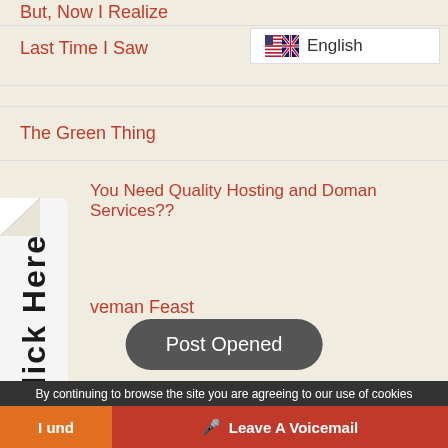But, Now I Realize
Last Time I Saw
[Figure (illustration): UK/US combined flag icon with English language label in a white selector box]
The Green Thing
[Figure (illustration): Vertical side banner with curl/fold corner showing Click Here text rotated vertically]
You Need Quality Hosting and Doman Services??
veman Feast
Post Opened
By continuing to browse the site you are agreeing to our use of cookies
I und
Leave A Voicemail